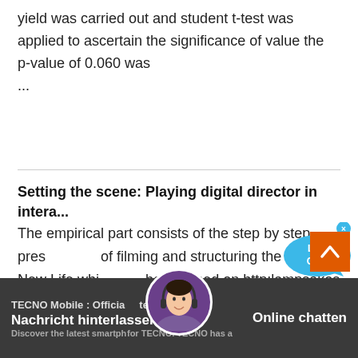yield was carried out and student t-test was applied to ascertain the significance of value the p-value of 0.060 was ...
Setting the scene: Playing digital director in intera...
The empirical part consists of the step by step presentation of filming and structuring the web-doc New Life which can be watched on http:lampsakos . Greek: Η παρούσα έρευνα ...Latest & New Mobile Phones List in 2022. - NDTV Gadgets …2021-3-27 · Latest Mobile Phones - List of all the latest and upcoming mobile phones available from various smartphone companies and brands in 2022.
[Figure (other): Live Chat bubble overlay with chat agent avatar]
TECNO Mobile : Official Site
Discover the latest smartphones for TECNO. TECNO has a
Nachricht hinterlassen
Online chatten